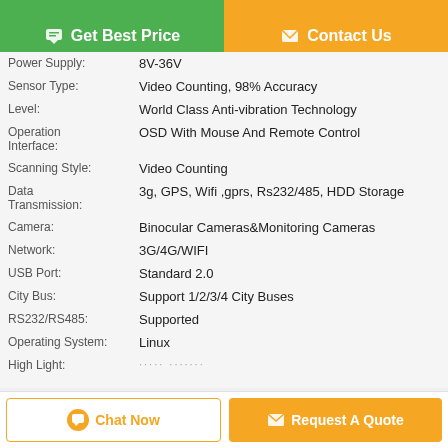[Figure (other): Get Best Price button (green) and Contact Us button (orange) at the top]
| Power Supply: | 8V-36V |
| Sensor Type: | Video Counting, 98% Accuracy |
| Level: | World Class Anti-vibration Technology |
| Operation Interface: | OSD With Mouse And Remote Control |
| Scanning Style: | Video Counting |
| Data Transmission: | 3g, GPS, Wifi ,gprs, Rs232/485, HDD Storage |
| Camera: | Binocular Cameras&Monitoring Cameras |
| Network: | 3G/4G/WIFI |
| USB Port: | Standard 2.0 |
| City Bus: | Support 1/2/3/4 City Buses |
| RS232/RS485: | Supported |
| Operating System: | Linux |
| High Light: | ······   ········ |
[Figure (other): Chat Now button and Request A Quote button at the bottom]